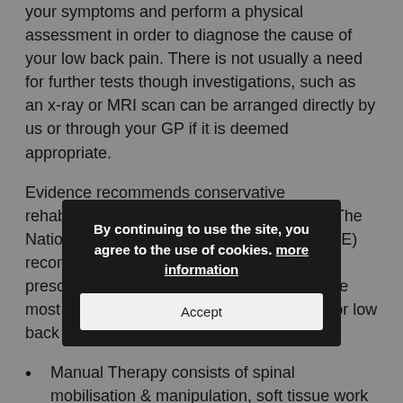your symptoms and perform a physical assessment in order to diagnose the cause of your low back pain. There is not usually a need for further tests though investigations, such as an x-ray or MRI scan can be arranged directly by us or through your GP if it is deemed appropriate.
Evidence recommends conservative rehabilitation as the first line of treatment – The National Institute of Clinical Excellence (NICE) recommends 'hands-on' Manual Therapy, prescribed exercises and Acupuncture as the most clinically evidence-based treatments for low back pain.
Manual Therapy consists of spinal mobilisation & manipulation, soft tissue work (massage) and stretching all of which are provided here at The Village Physios. If tightness is found on examination other techniques such as peripheral nerve stretch and myofascial release may be employed.
Acupuncture involves the insertion of fine, solid needles
By continuing to use the site, you agree to the use of cookies. more information
Accept